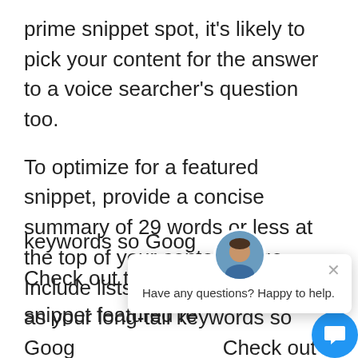prime snippet spot, it's likely to pick your content for the answer to a voice searcher's question too.
To optimize for a featured snippet, provide a concise summary of 29 words or less at the top of your content page. Include lists and bullets, as well as your long-tail keywords so Goog… Check out this exa… snippet featured re… increase in visitor sessions and a higher click-through-rate for one company.
[Figure (screenshot): Chat popup widget showing a man's avatar photo, a close (X) button, the message 'Have any questions? Happy to help.', and a blue circular chat button in the bottom right corner.]